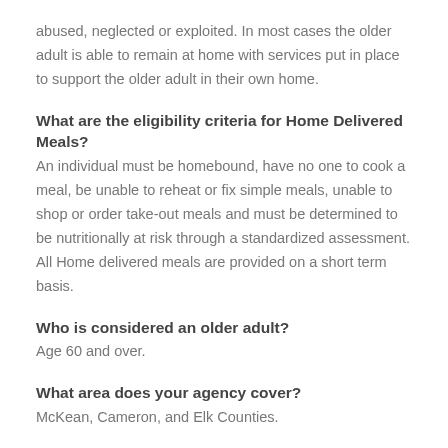abused, neglected or exploited. In most cases the older adult is able to remain at home with services put in place to support the older adult in their own home.
What are the eligibility criteria for Home Delivered Meals?
An individual must be homebound, have no one to cook a meal, be unable to reheat or fix simple meals, unable to shop or order take-out meals and must be determined to be nutritionally at risk through a standardized assessment. All Home delivered meals are provided on a short term basis.
Who is considered an older adult?
Age 60 and over.
What area does your agency cover?
McKean, Cameron, and Elk Counties.